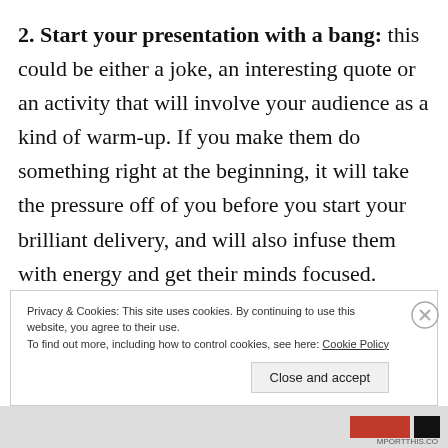2. Start your presentation with a bang: this could be either a joke, an interesting quote or an activity that will involve your audience as a kind of warm-up. If you make them do something right at the beginning, it will take the pressure off of you before you start your brilliant delivery, and will also infuse them with energy and get their minds focused.
Privacy & Cookies: This site uses cookies. By continuing to use this website, you agree to their use.
To find out more, including how to control cookies, see here: Cookie Policy